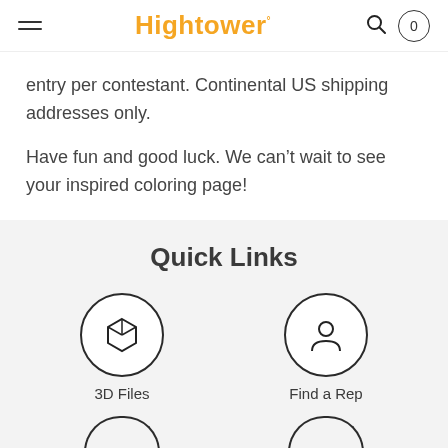Hightower
entry per contestant. Continental US shipping addresses only.
Have fun and good luck. We can't wait to see your inspired coloring page!
Quick Links
[Figure (other): 3D Files icon — a box/cube outline inside a circle]
3D Files
[Figure (other): Find a Rep icon — a person/user silhouette inside a circle]
Find a Rep